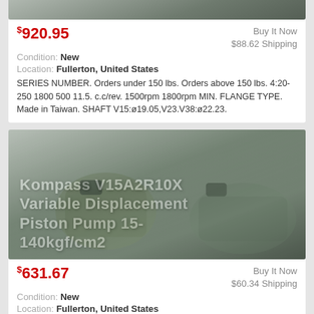[Figure (photo): Partial top of hydraulic piston pump product image (cropped at top)]
$920.95 | Buy It Now | $88.62 Shipping
Condition: New
Location: Fullerton, United States
SERIES NUMBER. Orders under 150 lbs. Orders above 150 lbs. 4:20-250 1800 500 11.5. c.c/rev. 1500rpm 1800rpm MIN. FLANGE TYPE. Made in Taiwan. SHAFT V15:ø19.05,V23.V38:ø22.23.
[Figure (photo): Kompass V15A2R10X Variable Displacement Piston Pump 15-140kgf/cm2 — product photo of two olive-green hydraulic piston pumps on a gray gradient background]
$631.67 | Buy It Now | $60.34 Shipping
Condition: New
Location: Fullerton, United States
SERIES NUMBER. Orders under 150 lbs. Orders above 150 lbs. 4:20-250 1800 500 11.5. c.c/rev.